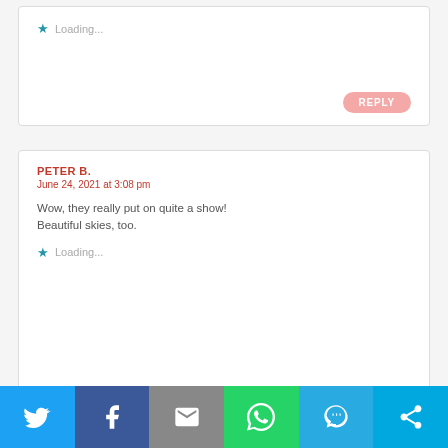Loading...
REPLY
PETER B.
June 24, 2021 at 3:08 pm
Wow, they really put on quite a show! Beautiful skies, too.
Loading...
REPLY
[Figure (screenshot): Social share bar with Twitter, Facebook, Email, WhatsApp, SMS, and More buttons]